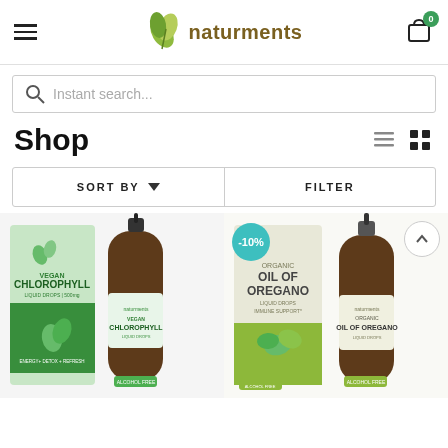naturments
[Figure (screenshot): Naturments e-commerce shop page showing header with hamburger menu, naturments logo with leaf icon, cart icon with badge showing 0, a search bar with 'Instant search...' placeholder, Shop title with list/grid view toggle icons, a Sort By / Filter bar, and two product images: Vegan Chlorophyll Liquid Drops and Organic Oil of Oregano with -10% discount badge]
Shop